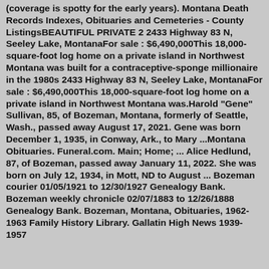(coverage is spotty for the early years). Montana Death Records Indexes, Obituaries and Cemeteries - County ListingsBEAUTIFUL PRIVATE 2 2433 Highway 83 N, Seeley Lake, MontanaFor sale : $6,490,000This 18,000-square-foot log home on a private island in Northwest Montana was built for a contraceptive-sponge millionaire in the 1980s 2433 Highway 83 N, Seeley Lake, MontanaFor sale : $6,490,000This 18,000-square-foot log home on a private island in Northwest Montana was.Harold "Gene" Sullivan, 85, of Bozeman, Montana, formerly of Seattle, Wash., passed away August 17, 2021. Gene was born December 1, 1935, in Conway, Ark., to Mary ...Montana Obituaries. Funeral.com. Main; Home; ... Alice Hedlund, 87, of Bozeman, passed away January 11, 2022. She was born on July 12, 1934, in Mott, ND to August ... Bozeman courier 01/05/1921 to 12/30/1927 Genealogy Bank. Bozeman weekly chronicle 02/07/1883 to 12/26/1888 Genealogy Bank. Bozeman, Montana, Obituaries, 1962-1963 Family History Library. Gallatin High News 1939-1957